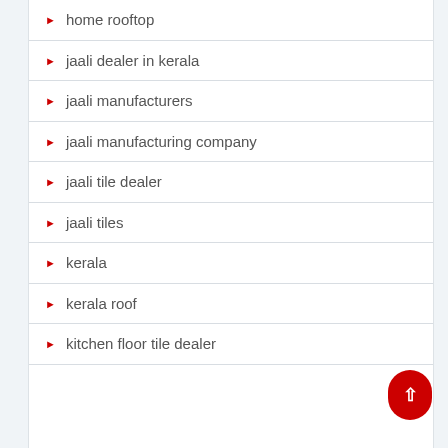home rooftop
jaali dealer in kerala
jaali manufacturers
jaali manufacturing company
jaali tile dealer
jaali tiles
kerala
kerala roof
kitchen floor tile dealer